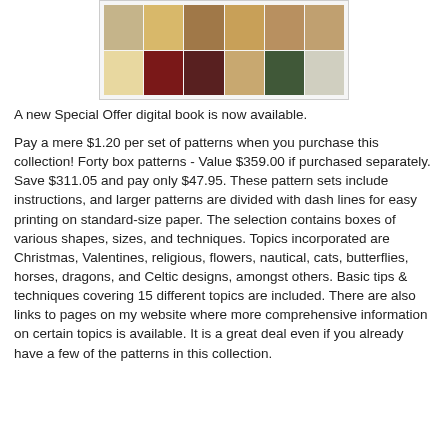[Figure (photo): A collage of photographs showing various decorative wooden boxes with different designs and techniques including Christmas, Valentines, floral, and Celtic patterns.]
A new Special Offer digital book is now available.
Pay a mere $1.20 per set of patterns when you purchase this collection! Forty box patterns - Value $359.00 if purchased separately. Save $311.05 and pay only $47.95. These pattern sets include instructions, and larger patterns are divided with dash lines for easy printing on standard-size paper. The selection contains boxes of various shapes, sizes, and techniques. Topics incorporated are Christmas, Valentines, religious, flowers, nautical, cats, butterflies, horses, dragons, and Celtic designs, amongst others. Basic tips & techniques covering 15 different topics are included. There are also links to pages on my website where more comprehensive information on certain topics is available. It is a great deal even if you already have a few of the patterns in this collection.